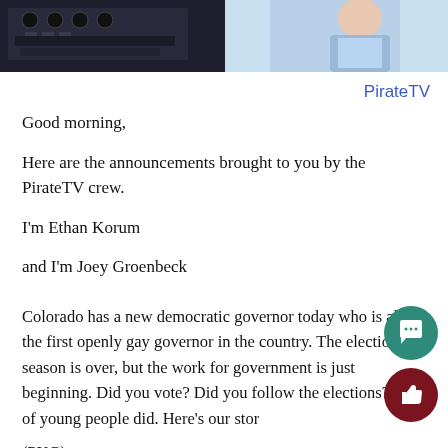[Figure (photo): Photo banner at top: left side shows a dark cockpit/studio scene, right side shows a person in a light blue shirt against a light background]
PirateTV
Good morning,
Here are the announcements brought to you by the PirateTV crew.
I'm Ethan Korum
and I'm Joey Groenbeck
Colorado has a new democratic governor today who is also the first openly gay governor in the country. The election season is over, but the work for government is just beginning. Did you vote? Did you follow the elections? A lot of young people did. Here's our stor
(PKG)
Attention Seniors: The deadline to order your senior class pano